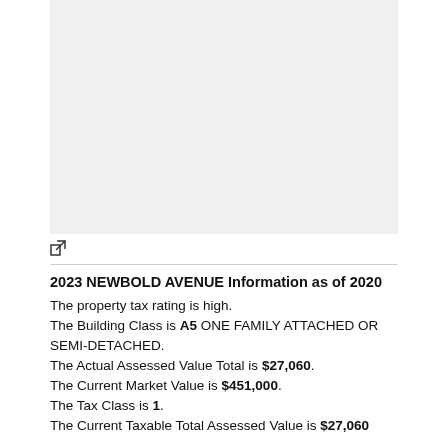[Figure (photo): Light gray placeholder image area representing a property photo]
External link icon
2023 NEWBOLD AVENUE Information as of 2020
The property tax rating is high.
The Building Class is A5 ONE FAMILY ATTACHED OR SEMI-DETACHED.
The Actual Assessed Value Total is $27,060.
The Current Market Value is $451,000.
The Tax Class is 1.
The Current Taxable Total Assessed Value is $27,060